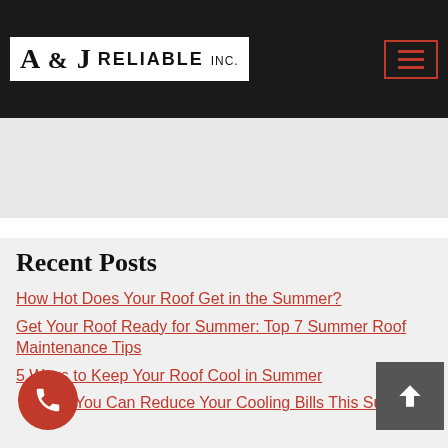A & J Reliable Inc.
Skylights
Winter Roofing
Recent Posts
How Hot Does Your Roof Get in the Summer?
Get Your Roof Ready for Summer: Top 7 Summer Roof Maintenance Tips
5 Ways to Keep Your Roof Cool in Summer
Ways You Can Reduce Your Cooling Bills This Summer